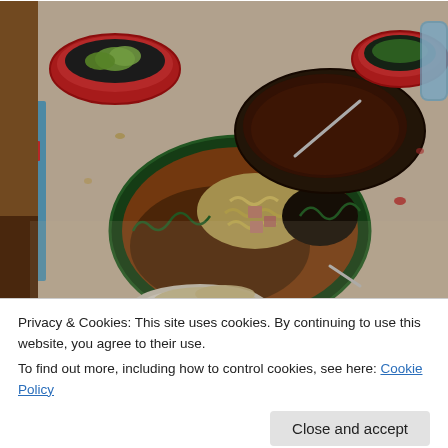[Figure (photo): A dinner table with a decorative plate holding pasta, meat, and beans with a tortilla on the side. Behind it is a dark bowl of sauce/soup with a spoon, and red bowls with lime slices and garnishes. The table has a light plastic cover with flowers.]
Privacy & Cookies: This site uses cookies. By continuing to use this website, you agree to their use.
To find out more, including how to control cookies, see here: Cookie Policy
Close and accept
dinner when my neighbors, the guys who come to my